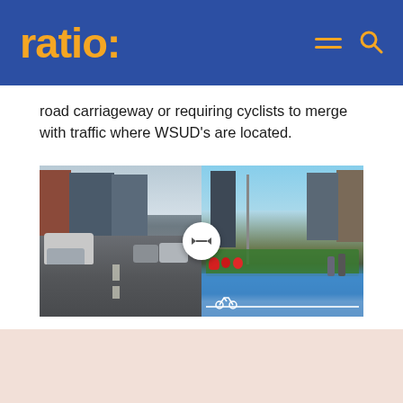ratio:
road carriageway or requiring cyclists to merge with traffic where WSUD's are located.
[Figure (photo): Before and after street comparison slider image. Left side shows a street with parked cars and no cycling infrastructure. Right side shows the same street redesigned with a blue painted cycle lane, planters with red flowers, and pedestrians. A circular slider control with left-right arrows overlaps the two images in the center.]